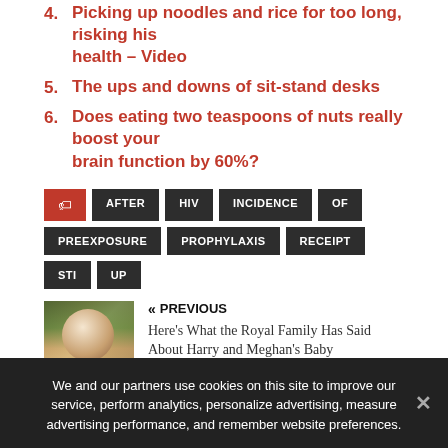4. Picking up noodles and rice for too long, risking his health – Video
5. The ups and downs of sit-stand desks
6. Does eating two teaspoons of nuts really boost your brain function by 60%?
Tags: AFTER HIV INCIDENCE OF PREEXPOSURE PROPHYLAXIS RECEIPT STI UP
« PREVIOUS
Here's What the Royal Family Has Said About Harry and Meghan's Baby
We and our partners use cookies on this site to improve our service, perform analytics, personalize advertising, measure advertising performance, and remember website preferences.